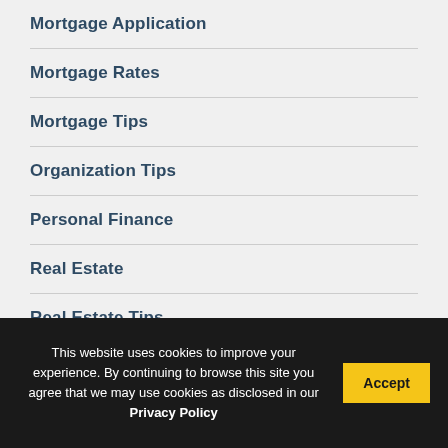Mortgage Application
Mortgage Rates
Mortgage Tips
Organization Tips
Personal Finance
Real Estate
Real Estate Tips
Real Estate Trends
Taxes
This website uses cookies to improve your experience. By continuing to browse this site you agree that we may use cookies as disclosed in our Privacy Policy
Accept